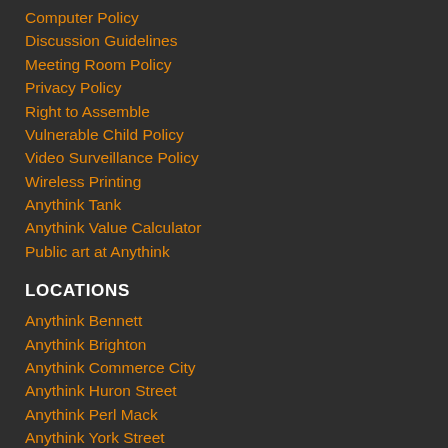Computer Policy
Discussion Guidelines
Meeting Room Policy
Privacy Policy
Right to Assemble
Vulnerable Child Policy
Video Surveillance Policy
Wireless Printing
Anythink Tank
Anythink Value Calculator
Public art at Anythink
LOCATIONS
Anythink Bennett
Anythink Brighton
Anythink Commerce City
Anythink Huron Street
Anythink Perl Mack
Anythink York Street